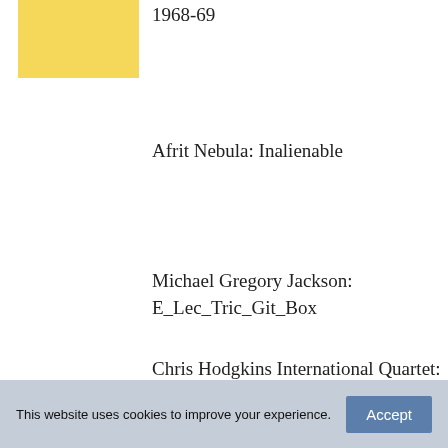[Figure (illustration): Yellow/gold colored rectangle box in upper left]
1968-69
Afrit Nebula: Inalienable
Michael Gregory Jackson: E_Lec_Tric_Git_Box
Chris Hodgkins International Quartet: Festooned With Trumpets
Steve Baker: Tonic
This website uses cookies to improve your experience.